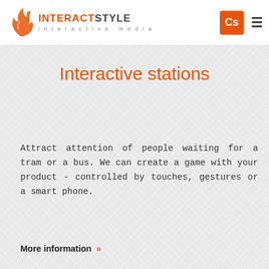INTERACTSTYLE interactive media | Cs
Interactive stations
Attract attention of people waiting for a tram or a bus. We can create a game with your product - controlled by touches, gestures or a smart phone.
More information »